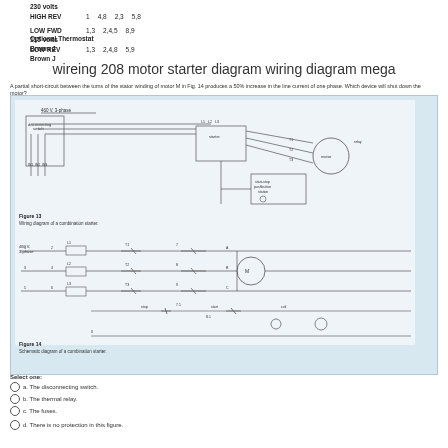| 230 volts |  |  |  |
| HIGH REV | 1 | 4,8 | 2,3 | 5,8 |
| LOW FWD | 1,3 | 2,4,5 | 8,9 |
| 115 volts |  |  |  |
| LOW REV | 1,3 | 2,4,8 | 5,9 |
Optional Thermostat
Brown J
Brown J
wireing 208 motor starter diagram wiring diagram mega
A partial short-circuit between the turns of the stator winding of motor M in Fig. 14 produces a 50% increase in the line current of one phase. Which device will shut down the motor?
[Figure (engineering-diagram): Wiring diagram of a combination starter (Figure 13) showing 460V 3-phase disconnecting switch, fuses, contactor, motor connections, and start-stop pushbutton station. Below it is a schematic diagram of a combination starter (Figure 14) showing fuses L1/L2/L3, overload relay, contactor contacts T1/T2/T3, motor M, stop/start pushbutton station.]
Figure 13
Wiring diagram of a combination starter.
Figure 14
Schematic diagram of a combination starter.
Select one:
a. The disconnecting switch.
b. The thermal relay.
c. The fuses.
d. There is no protection in this figure.